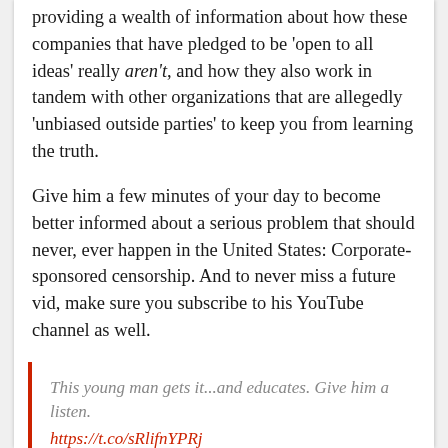providing a wealth of information about how these companies that have pledged to be 'open to all ideas' really aren't, and how they also work in tandem with other organizations that are allegedly 'unbiased outside parties' to keep you from learning the truth.
Give him a few minutes of your day to become better informed about a serious problem that should never, ever happen in the United States: Corporate-sponsored censorship. And to never miss a future vid, make sure you subscribe to his YouTube channel as well.
This young man gets it...and educates. Give him a listen. https://t.co/sRlifnYPRj